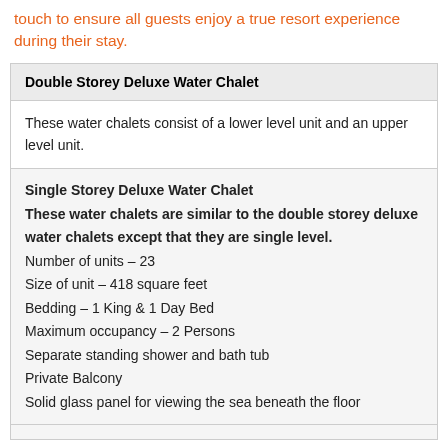touch to ensure all guests enjoy a true resort experience during their stay.
Double Storey Deluxe Water Chalet
These water chalets consist of a lower level unit and an upper level unit.
Single Storey Deluxe Water Chalet
These water chalets are similar to the double storey deluxe water chalets except that they are single level.
Number of units – 23
Size of unit – 418 square feet
Bedding – 1 King & 1 Day Bed
Maximum occupancy – 2 Persons
Separate standing shower and bath tub
Private Balcony
Solid glass panel for viewing the sea beneath the floor